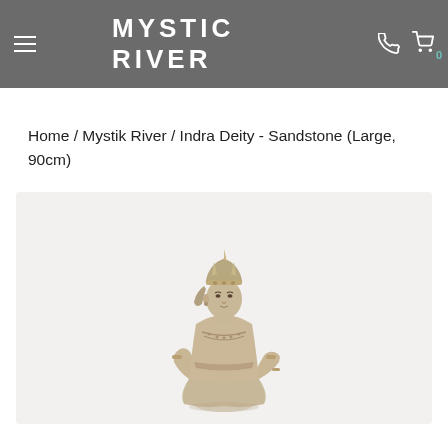MYSTIC RIVER
Home / Mystik River / Indra Deity - Sandstone (Large, 90cm)
[Figure (photo): A sandstone statue of Indra deity, seated pose, showing detailed carved jewelry and headdress, ancient Indian sculpture style, on a light gray background.]